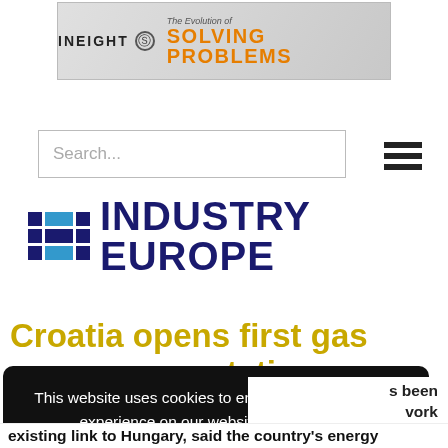[Figure (other): InEight banner advertisement: logo with text 'INEIGHT' and tagline 'The Evolution of SOLVING PROBLEMS']
Search...
[Figure (logo): Industry Europe logo: blue grid icon with INDUSTRY EUROPE text in dark navy]
Croatia opens first gas compressor station
21 January 2020  15:40
This website uses cookies to ensure you get the best experience on our website.  Learn more
Got it!
s been work on the existing link to Hungary, said the country's energy